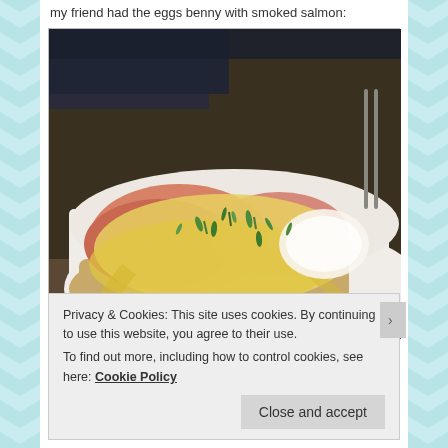my friend had the eggs benny with smoked salmon:
[Figure (photo): Photo of eggs benedict with smoked salmon on a white plate, topped with hollandaise sauce and chopped herbs]
eggs benedict with smoked salmon – £8.25
Privacy & Cookies: This site uses cookies. By continuing to use this website, you agree to their use.
To find out more, including how to control cookies, see here: Cookie Policy
Close and accept